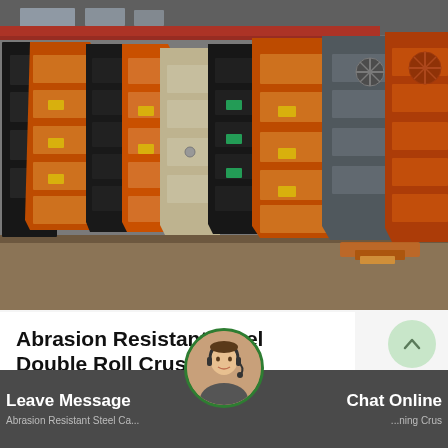[Figure (photo): Industrial warehouse interior with large stacked crusher panels/parts in orange, black, and beige colors leaning against a wall, with red overhead crane beam visible at ceiling]
Abrasion Resistant Steel Double Roll Crusher
Leave Message
Chat Online